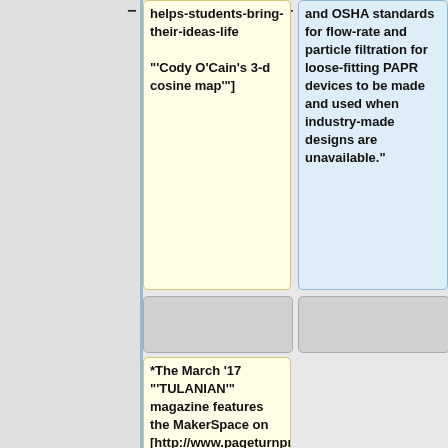helps-students-bring-their-ideas-life "'Cody O'Cain's 3-d cosine map'"]
and OSHA standards for flow-rate and particle filtration for loose-fitting PAPR devices to be made and used when industry-made designs are unavailable."
*The March '17 "'TULANIAN'" magazine features the MakerSpace on [http://www.pageturnpro.com/Progress-Printing/77574-